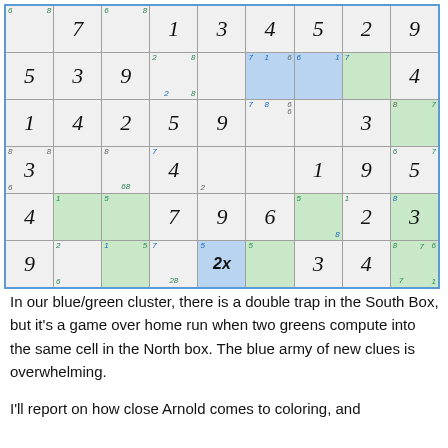[Figure (other): A 9x9 Sudoku puzzle grid with colored cells (blue and green highlights), main numbers in italic script style, and small corner hint numbers. The grid uses green thick borders for 3x3 box divisions and blue for outer border.]
In our blue/green cluster, there is a double trap in the South Box, but it's a game over home run when two greens compute into the same cell in the North box. The blue army of new clues is overwhelming.
I'll report on how close Arnold comes to coloring, and